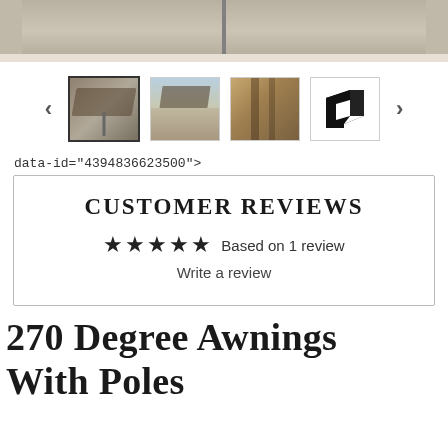[Figure (photo): Top portion of a photo showing an awning with a pole, partial view cropped at top of page]
[Figure (photo): Thumbnail image carousel with 4 thumbnails showing awning product photos and a brand logo, with left and right navigation arrows]
data-id="4394836623500">
CUSTOMER REVIEWS
★★★★★ Based on 1 review
Write a review
270 Degree Awnings With Poles